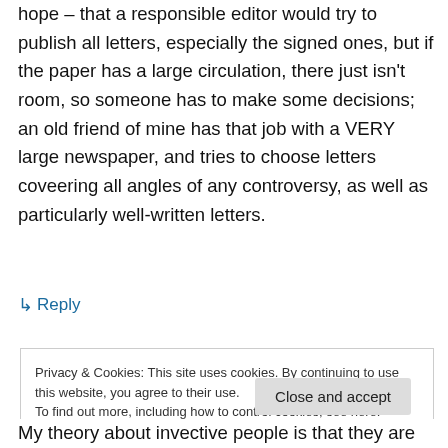hope – that a responsible editor would try to publish all letters, especially the signed ones, but if the paper has a large circulation, there just isn't room, so someone has to make some decisions; an old friend of mine has that job with a VERY large newspaper, and tries to choose letters coveering all angles of any controversy, as well as particularly well-written letters.
↳ Reply
Privacy & Cookies: This site uses cookies. By continuing to use this website, you agree to their use.
To find out more, including how to control cookies, see here: Cookie Policy
Close and accept
My theory about invective people is that they are